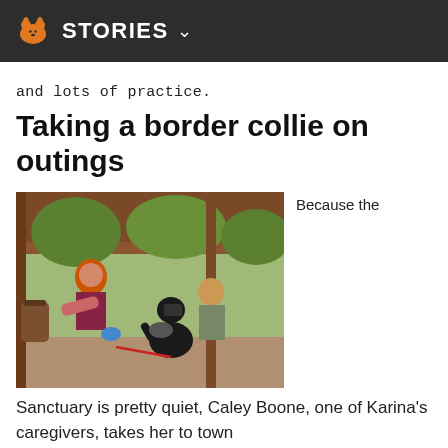STORIES
and lots of practice.
Taking a border collie on outings
[Figure (photo): Two people interacting with dogs on a covered outdoor patio. One person wearing an orange beanie and sunglasses is kneeling, and a black dog is raising its paw toward her. Another person sits in the background near a smaller dog. There are trees and a wooden structure visible.]
Because the
Sanctuary is pretty quiet, Caley Boone, one of Karina's caregivers, takes her to town